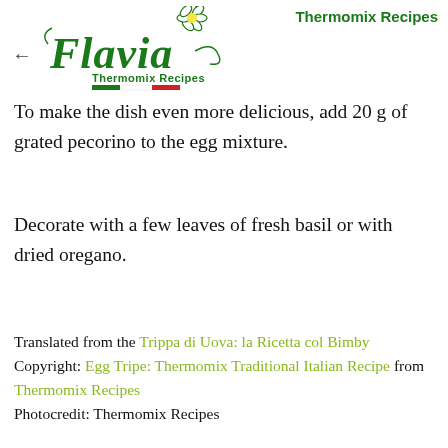Thermomix Recipes
[Figure (logo): Flavia Thermomix Recipes script logo with flower and Italian flag stripe]
To make the dish even more delicious, add 20 g of grated pecorino to the egg mixture.
Decorate with a few leaves of fresh basil or with dried oregano.
Translated from the Trippa di Uova: la Ricetta col Bimby
Copyright: Egg Tripe: Thermomix Traditional Italian Recipe from Thermomix Recipes
Photocredit: Thermomix Recipes